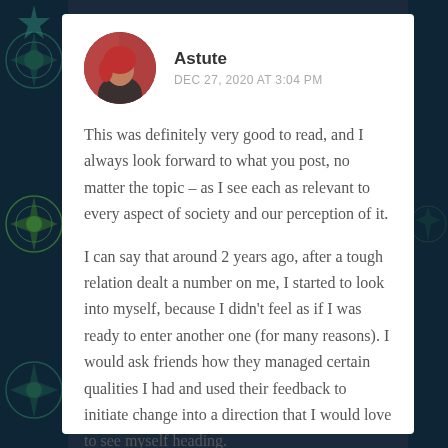[Figure (illustration): Circular avatar photo of user 'Astute', showing a person with reddish hair against a red curtain background]
Astute
DEC 27, 2020 AT 3:04 PM
This was definitely very good to read, and I always look forward to what you post, no matter the topic – as I see each as relevant to every aspect of society and our perception of it.
I can say that around 2 years ago, after a tough relation dealt a number on me, I started to look into myself, because I didn't feel as if I was ready to enter another one (for many reasons). I would ask friends how they managed certain qualities I had and used their feedback to initiate change into a direction that I would love to see myself heading.